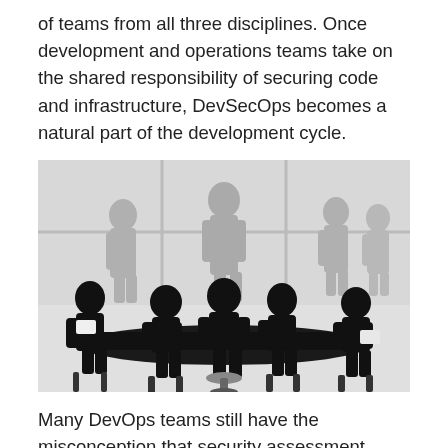of teams from all three disciplines. Once development and operations teams take on the shared responsibility of securing code and infrastructure, DevSecOps becomes a natural part of the development cycle.
[Figure (illustration): Silhouette illustration of a business meeting with multiple people seated around a conference table and standing figures in the background against a windowed office setting.]
Many DevOps teams still have the misconception that security assessment causes delays in software